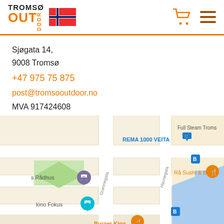Tromsø Outdoor — navigation header with logo, Norwegian flag, cart and menu icons
Sjøgata 14,
9008 Tromsø
+47 975 75 875
post@tromsooutdoor.no
MVA 917424608
[Figure (map): Google Maps screenshot showing street map of central Tromsø with labels: REMA 1000 VEITA, Full Steam Troms, Rå Sushi & Bar, s Rådhus, kino Fokus, Burger King, Grønnegata, Havnegata, with map pins and bus stop icons visible]